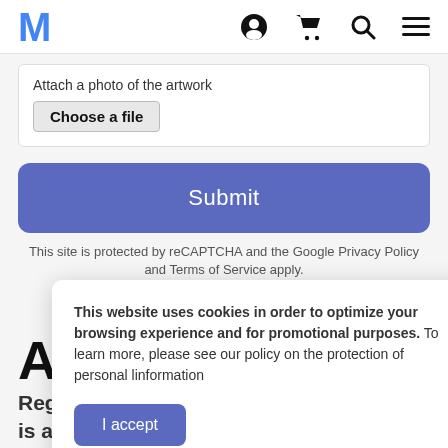M [logo] [account icon] [cart icon] [search icon] [menu icon]
Attach a photo of the artwork
Choose a file
Submit
This site is protected by reCAPTCHA and the Google Privacy Policy and Terms of Service apply.
This website uses cookies in order to optimize your browsing experience and for promotional purposes. To learn more, please see our policy on the protection of personal linformation
I accept
A Regardless of whether a donation offer is accepted, a MMFA representative will